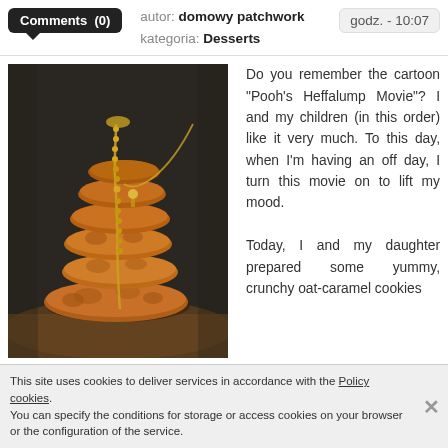Comments (0)   autor: domowy patchwork   kategoria: Desserts   godz. - 10:07
[Figure (photo): Stack of oat-caramel cookies tied with a decorative gold beaded chain/ribbon, placed on a wooden surface, dark background.]
Do you remember the cartoon "Pooh's Heffalump Movie"? I and my children (in this order) like it very much. To this day, when I'm having an off day, I turn this movie on to lift my mood.

Today, I and my daughter prepared some yummy, crunchy oat-caramel cookies
This site uses cookies to deliver services in accordance with the Policy cookies. You can specify the conditions for storage or access cookies on your browser or the configuration of the service.